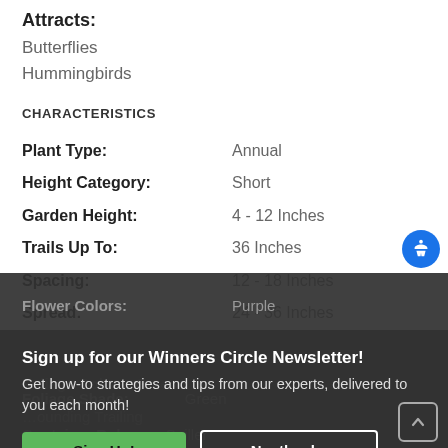Attracts:
Butterflies
Hummingbirds
CHARACTERISTICS
| Property | Value |
| --- | --- |
| Plant Type: | Annual |
| Height Category: | Short |
| Garden Height: | 4 - 12 Inches |
| Trails Up To: | 36 Inches |
| Spacing: | 12 - 18 Inches |
| Spread: | 24 - 36 Inches |
| Flower Colors: | Purple |
| Foliage Colors: | Green |
| Foliage Shade: | Green |
| Container Role: | Spiller |
Sign up for our Winners Circle Newsletter! Get how-to strategies and tips from our experts, delivered to you each month!